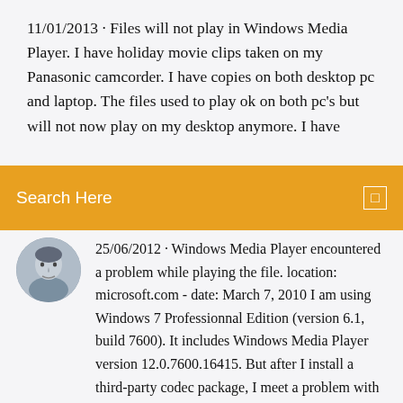11/01/2013 · Files will not play in Windows Media Player. I have holiday movie clips taken on my Panasonic camcorder. I have copies on both desktop pc and laptop. The files used to play ok on both pc's but will not now play on my desktop anymore. I have
Search Here
[Figure (photo): Circular avatar photo of a man with short hair, in grayscale]
25/06/2012 · Windows Media Player encountered a problem while playing the file. location: microsoft.com - date: March 7, 2010 I am using Windows 7 Professionnal Edition (version 6.1, build 7600). It includes Windows Media Player version 12.0.7600.16415. But after I install a third-party codec package, I meet a problem with a notice "Windows Media Player encountered a problem while playing the file...